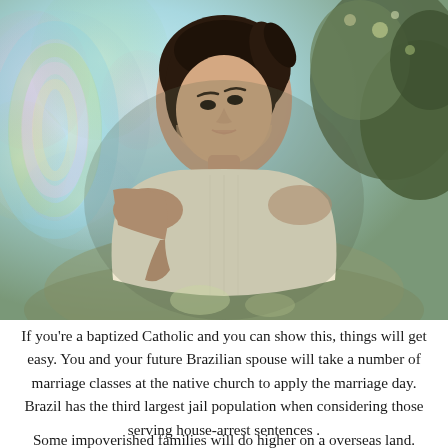[Figure (photo): A young woman with dark hair in an off-shoulder cream-colored dress, looking upward, photographed outdoors with colorful bokeh light effects on the left and greenery/trees in the background.]
If you're a baptized Catholic and you can show this, things will get easy. You and your future Brazilian spouse will take a number of marriage classes at the native church to apply the marriage day. Brazil has the third largest jail population when considering those serving house-arrest sentences .
Some impoverished families will do higher on a overseas land. From